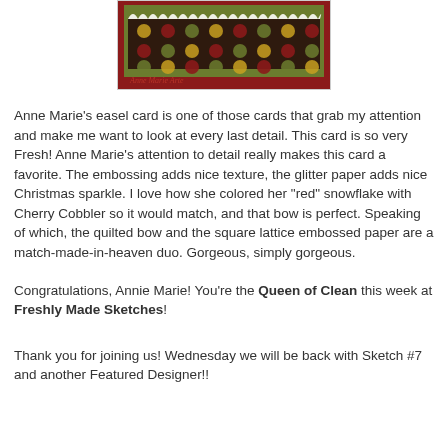[Figure (photo): A crafted easel card with red border, olive green polka dot pattern paper, and decorative white scalloped edge at top. Anne Marie Arte watermark visible.]
Anne Marie's easel card is one of those cards that grab my attention and make me want to look at every last detail. This card is so very Fresh! Anne Marie's attention to detail really makes this card a favorite. The embossing adds nice texture, the glitter paper adds nice Christmas sparkle. I love how she colored her "red" snowflake with Cherry Cobbler so it would match, and that bow is perfect. Speaking of which, the quilted bow and the square lattice embossed paper are a match-made-in-heaven duo. Gorgeous, simply gorgeous.
Congratulations, Annie Marie! You're the Queen of Clean this week at Freshly Made Sketches!
Thank you for joining us! Wednesday we will be back with Sketch #7 and another Featured Designer!!